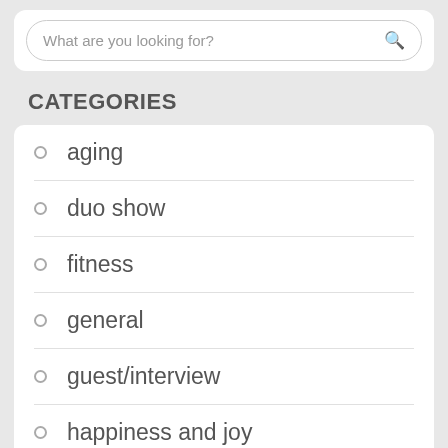[Figure (screenshot): Search box with placeholder text 'What are you looking for?' and a search icon]
CATEGORIES
aging
duo show
fitness
general
guest/interview
happiness and joy